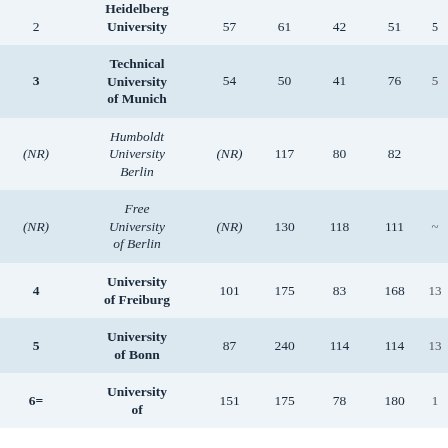| Rank | University | Col3 | Col4 | Col5 | Col6 | Col7 |
| --- | --- | --- | --- | --- | --- | --- |
| 2 | Heidelberg University | 57 | 61 | 42 | 51 | ~ |
| 3 | Technical University of Munich | 54 | 50 | 41 | 76 | 5 |
| (NR) | Humboldt University Berlin | (NR) | 117 | 80 | 82 |  |
| (NR) | Free University of Berlin | (NR) | 130 | 118 | 111 | ~ |
| 4 | University of Freiburg | 101 | 175 | 83 | 168 | 13 |
| 5 | University of Bonn | 87 | 240 | 114 | 114 | 13 |
| 6= | University of | 151 | 175 | 78 | 180 | 1 |